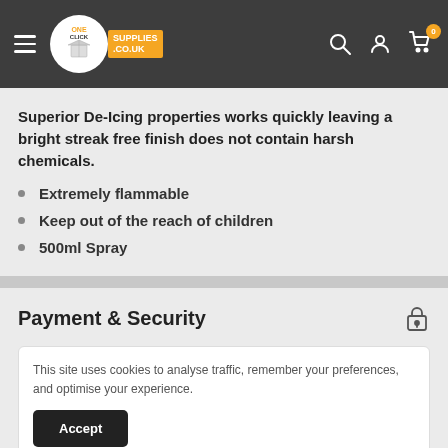OneClick Supplies .co.uk — navigation header with hamburger menu, logo, search, account, and cart icons
Superior De-Icing properties works quickly leaving a bright streak free finish does not contain harsh chemicals.
Extremely flammable
Keep out of the reach of children
500ml Spray
Payment & Security
This site uses cookies to analyse traffic, remember your preferences, and optimise your experience.
Accept
Your payment information is processed securely. We do not